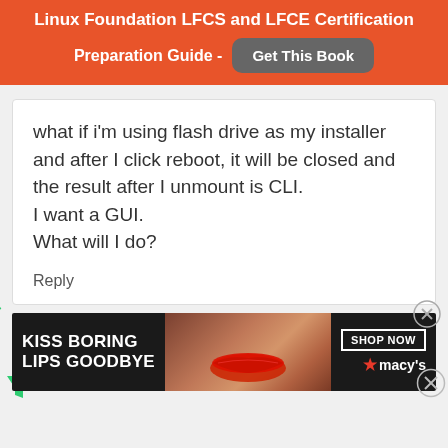Linux Foundation LFCS and LFCE Certification Preparation Guide - Get This Book
what if i'm using flash drive as my installer and after I click reboot, it will be closed and the result after I unmount is CLI.
I want a GUI.
What will I do?
Reply
[Figure (photo): Advertisement banner: KISS BORING LIPS GOODBYE - SHOP NOW - macys.com]